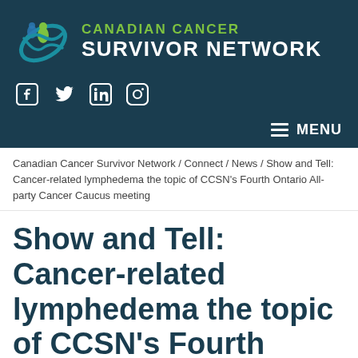[Figure (logo): Canadian Cancer Survivor Network logo with teal background, green figure icon, and white/green text]
Canadian Cancer Survivor Network / Connect / News / Show and Tell: Cancer-related lymphedema the topic of CCSN's Fourth Ontario All-party Cancer Caucus meeting
Show and Tell: Cancer-related lymphedema the topic of CCSN's Fourth Ontario All-party C...